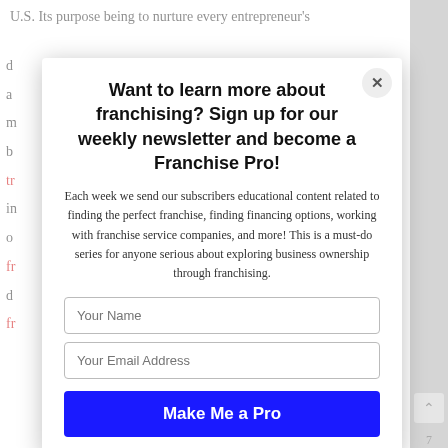U.S. Its purpose being to nurture every entrepreneur's
d
a
m
b
tr
in
o
fr
d
fr
[Figure (screenshot): Modal popup dialog for newsletter signup with title 'Want to learn more about franchising? Sign up for our weekly newsletter and become a Franchise Pro!', body text about weekly educational content, two input fields for name and email, and a blue 'Make Me a Pro' button. Has an X close button in top right corner.]
7